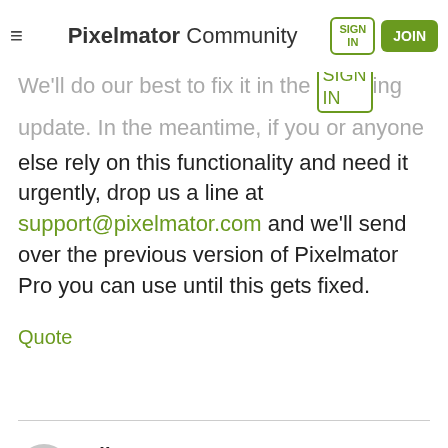Pixelmator Community | SIGN IN | JOIN
We'll do our best to fix it in the upcoming update. In the meantime, if you or anyone else rely on this functionality and need it urgently, drop us a line at support@pixelmator.com and we'll send over the previous version of Pixelmator Pro you can use until this gets fixed.
Quote
EllenM
on Sept 20, 2021
OMG - I was ignoring the initial step: Selecting all and draw a selection frame instead. So "Yes - confirmed" also from me.